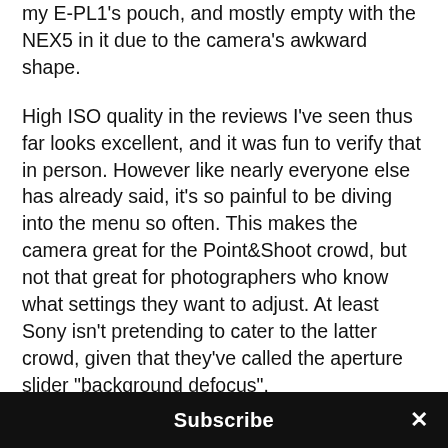my E-PL1's pouch, and mostly empty with the NEX5 in it due to the camera's awkward shape.
High ISO quality in the reviews I've seen thus far looks excellent, and it was fun to verify that in person. However like nearly everyone else has already said, it's so painful to be diving into the menu so often. This makes the camera great for the Point&Shoot crowd, but not that great for photographers who know what settings they want to adjust. At least Sony isn't pretending to cater to the latter crowd, given that they've called the aperture slider "background defocus".
The one thing that could possibly tilt me more in favour of the NEX series however is the Leica M…
Subscribe ×